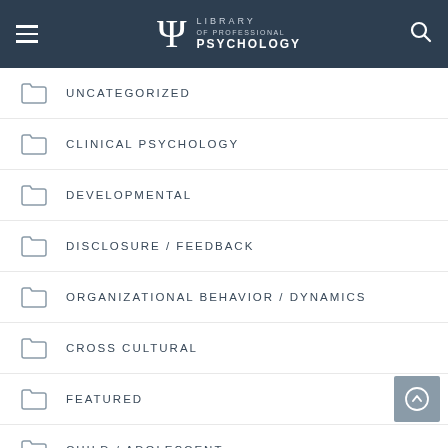Library of Professional Psychology
UNCATEGORIZED
CLINICAL PSYCHOLOGY
DEVELOPMENTAL
DISCLOSURE / FEEDBACK
ORGANIZATIONAL BEHAVIOR / DYNAMICS
CROSS CULTURAL
FEATURED
CHILD / ADOLESCENT
COUNSELING / COACHING
INFLUENCE / COMMUNICATION
LEADERSHIP